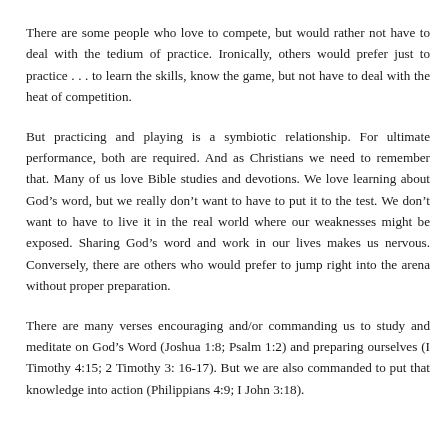There are some people who love to compete, but would rather not have to deal with the tedium of practice. Ironically, others would prefer just to practice . . . to learn the skills, know the game, but not have to deal with the heat of competition.
But practicing and playing is a symbiotic relationship. For ultimate performance, both are required. And as Christians we need to remember that. Many of us love Bible studies and devotions. We love learning about God's word, but we really don't want to have to put it to the test. We don't want to have to live it in the real world where our weaknesses might be exposed. Sharing God's word and work in our lives makes us nervous. Conversely, there are others who would prefer to jump right into the arena without proper preparation.
There are many verses encouraging and/or commanding us to study and meditate on God's Word (Joshua 1:8; Psalm 1:2) and preparing ourselves (I Timothy 4:15; 2 Timothy 3: 16-17). But we are also commanded to put that knowledge into action (Philippians 4:9; I John 3:18).